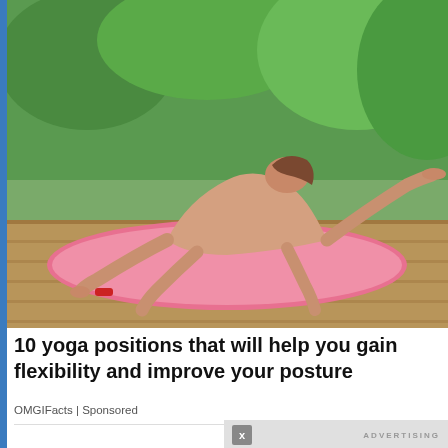[Figure (photo): Woman doing a yoga pose (extended side angle or similar backbend) on a pink yoga mat on a wooden deck surrounded by green tropical plants]
10 yoga positions that will help you gain flexibility and improve your posture
OMGIFacts | Sponsored
[Figure (photo): Euro banknotes (50 euro bills) spread on a surface along with what appears to be a wooden gavel — suggesting a financial or legal auction theme]
[Figure (logo): Ureka Media logo — a pink and purple swirl/spiral shape with 'ureka | MEDIA' text, shown in an advertising overlay panel with play/volume controls and 'Xem Thêm' (See More) button]